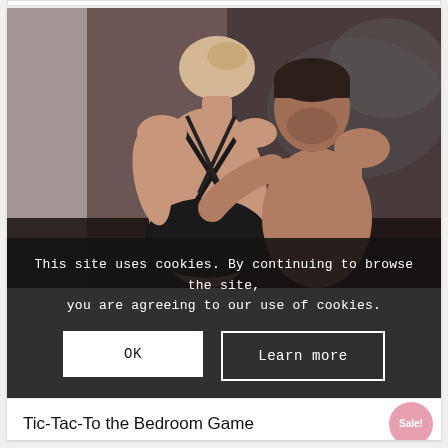[Figure (photo): A couple in an intimate embrace; woman in black strappy backless top facing away, man shirtless facing her, romantic/editorial style photo with dark moody background]
This site uses cookies. By continuing to browse the site, you are agreeing to our use of cookies.
OK
Learn more
Tic-Tac-To the Bedroom Game
Sale!